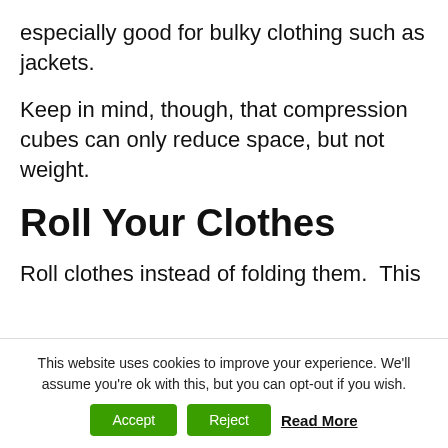especially good for bulky clothing such as jackets.
Keep in mind, though, that compression cubes can only reduce space, but not weight.
Roll Your Clothes
Roll clothes instead of folding them.  This
This website uses cookies to improve your experience. We'll assume you're ok with this, but you can opt-out if you wish.